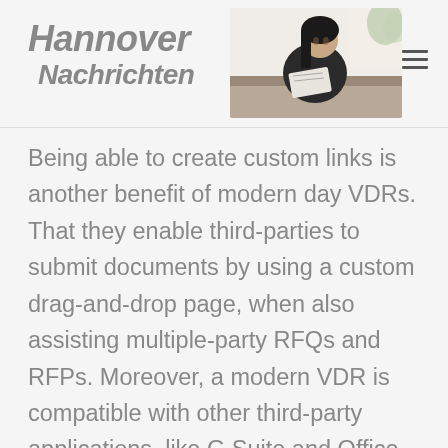Hannover Nachrichten
[Figure (photo): Woman sitting on a couch reading a magazine/newspaper, light background with plant]
Being able to create custom links is another benefit of modern day VDRs. That they enable third-parties to submit documents by using a custom drag-and-drop page, when also assisting multiple-party RFQs and RFPs. Moreover, a modern VDR is compatible with other third-party applications, like G Suite and Office 365. Salesforce the usage allows you to conveniently update info within the system. A comprehensive VDR also helps multiple-party cooperation and e-signatures.